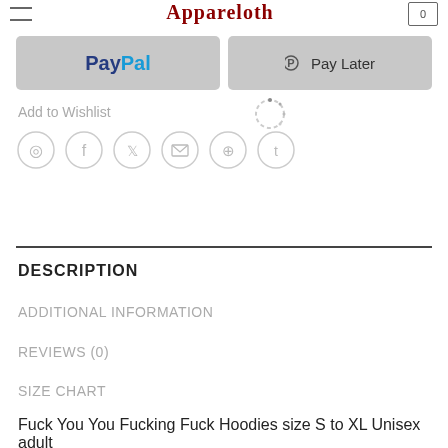Appareloth
[Figure (screenshot): PayPal button (grey rounded rectangle) and Pay Later button (grey rounded rectangle with PayPal P icon)]
Add to Wishlist
[Figure (illustration): Loading spinner (circular dashed spinner icon)]
[Figure (illustration): Social share icons row: WhatsApp, Facebook, Twitter, Email, Pinterest, Tumblr — all as grey circle outline buttons]
DESCRIPTION
ADDITIONAL INFORMATION
REVIEWS (0)
SIZE CHART
Fuck You You Fucking Fuck Hoodies size S to XL Unisex adult